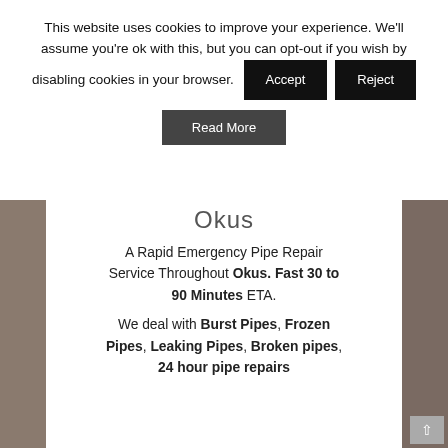This website uses cookies to improve your experience. We'll assume you're ok with this, but you can opt-out if you wish by disabling cookies in your browser.
Accept | Reject | Read More
Okus
A Rapid Emergency Pipe Repair Service Throughout Okus. Fast 30 to 90 Minutes ETA.
We deal with Burst Pipes, Frozen Pipes, Leaking Pipes, Broken pipes, 24 hour pipe repairs